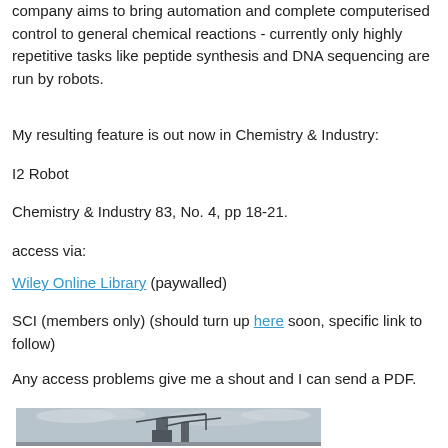company aims to bring automation and complete computerised control to general chemical reactions - currently only highly repetitive tasks like peptide synthesis and DNA sequencing are run by robots.
My resulting feature is out now in Chemistry & Industry:
I2 Robot
Chemistry & Industry 83, No. 4, pp 18-21.
access via:
Wiley Online Library (paywalled)
SCI (members only) (should turn up here soon, specific link to follow)
Any access problems give me a shout and I can send a PDF.
[Figure (photo): A photograph showing what appears to be an industrial structure or tower with cranes against an overcast sky.]